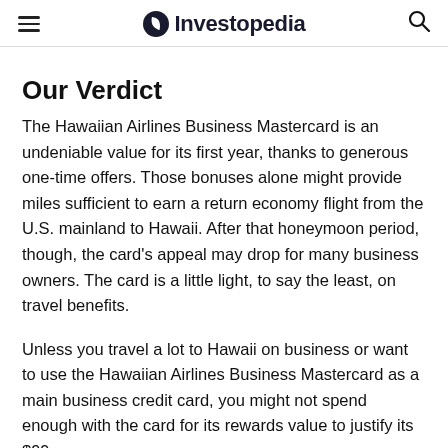Investopedia
Our Verdict
The Hawaiian Airlines Business Mastercard is an undeniable value for its first year, thanks to generous one-time offers. Those bonuses alone might provide miles sufficient to earn a return economy flight from the U.S. mainland to Hawaii. After that honeymoon period, though, the card's appeal may drop for many business owners. The card is a little light, to say the least, on travel benefits.
Unless you travel a lot to Hawaii on business or want to use the Hawaiian Airlines Business Mastercard as a main business credit card, you might not spend enough with the card for its rewards value to justify its $99...